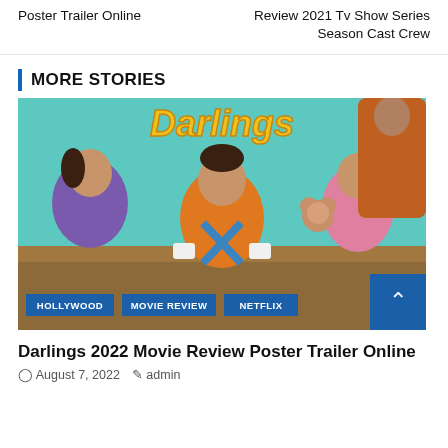Poster Trailer Online
Review 2021 Tv Show Series Season Cast Crew
MORE STORIES
[Figure (photo): Darlings 2022 movie promotional image showing three actors seated around a table with cups, with a teal/green background and the word Darlings in yellow text at the top. Tags: HOLLYWOOD, MOVIE REVIEW, NETFLIX]
Darlings 2022 Movie Review Poster Trailer Online
August 7, 2022   admin